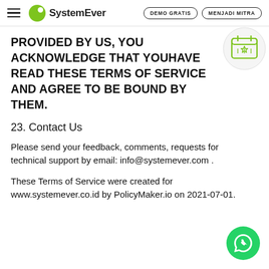SystemEver — DEMO GRATIS | MENJADI MITRA
PROVIDED BY US, YOU ACKNOWLEDGE THAT YOUHAVE READ THESE TERMS OF SERVICE AND AGREE TO BE BOUND BY THEM.
23. Contact Us
Please send your feedback, comments, requests for technical support by email: info@systemever.com .
These Terms of Service were created for www.systemever.co.id by PolicyMaker.io on 2021-07-01.
[Figure (illustration): Calendar/schedule icon with a star, outlined in green]
[Figure (illustration): WhatsApp floating action button — green circle with white phone/chat icon]